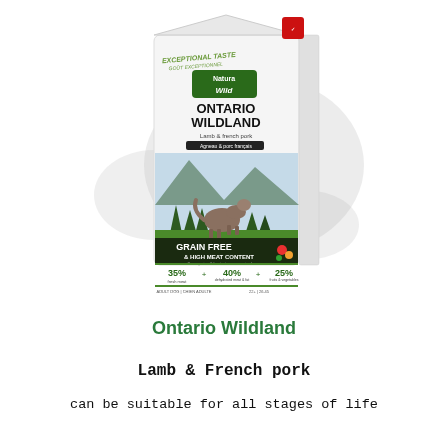[Figure (photo): Product bag of Natura Wild Ontario Wildland dog food — Lamb & French Pork flavour. White bag with a wolf standing in a mountain landscape. Text on bag: EXCEPTIONAL TASTE / GOÛT EXCEPTIONNEL, Natura Wild logo, ONTARIO WILDLAND, Lamb & french pork / Agneau & porc français, GRAIN FREE & HIGH MEAT CONTENT, 35% fresh meat, 40% dehydrated meat & fat, 25% fruits & vegetables, ADULT DOG / CHIEN ADULTE, 22+ | 26.45. Red quality seal top right corner.]
Ontario Wildland
Lamb & French pork
can be suitable for all stages of life